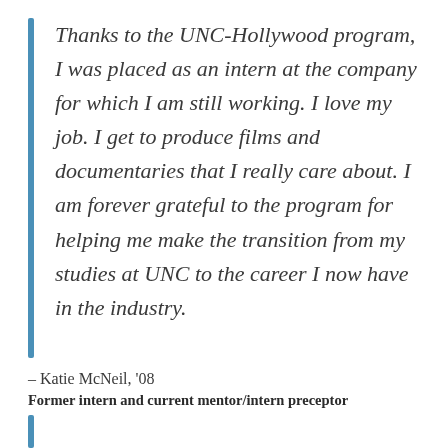Thanks to the UNC-Hollywood program, I was placed as an intern at the company for which I am still working. I love my job. I get to produce films and documentaries that I really care about. I am forever grateful to the program for helping me make the transition from my studies at UNC to the career I now have in the industry.
– Katie McNeil, '08
Former intern and current mentor/intern preceptor